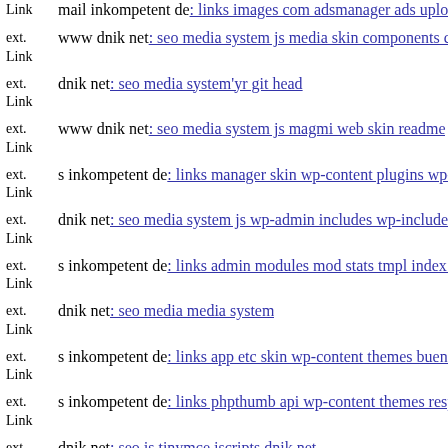ext. Link  mail inkompetent de: links images com adsmanager ads upload...
ext. Link  www dnik net: seo media system js media skin components com...
ext. Link  dnik net: seo media system'yr git head
ext. Link  www dnik net: seo media system js magmi web skin readme
ext. Link  s inkompetent de: links manager skin wp-content plugins wp-fi...
ext. Link  dnik net: seo media system js wp-admin includes wp-includes...
ext. Link  s inkompetent de: links admin modules mod stats tmpl index ph...
ext. Link  dnik net: seo media media system
ext. Link  s inkompetent de: links app etc skin wp-content themes bueno...
ext. Link  s inkompetent de: links phpthumb api wp-content themes respo...
ext. Link  dnik net: seo js tinymce jscripts dnik net
ext. Link  s inkompetent de: links images s inkompetent de